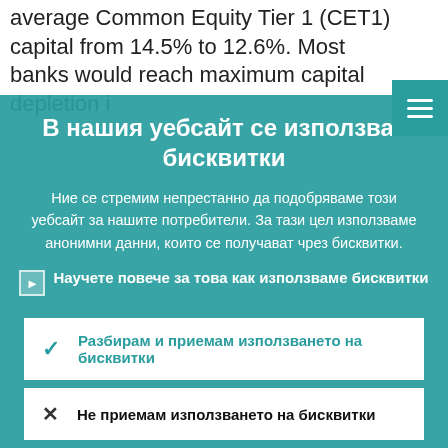average Common Equity Tier 1 (CET1) capital from 14.5% to 12.6%. Most banks would reach maximum capital depletion i…
В нашия уебсайт се използват бисквитки
Ние се стремим непрестанно да подобряваме този уебсайт за нашите потребители. За тази цел използваме анонимни данни, които се получават чрез бисквитки.
Научете повече за това как използваме бисквитки
Разбирам и приемам използването на бисквитки
Не приемам използването на бисквитки